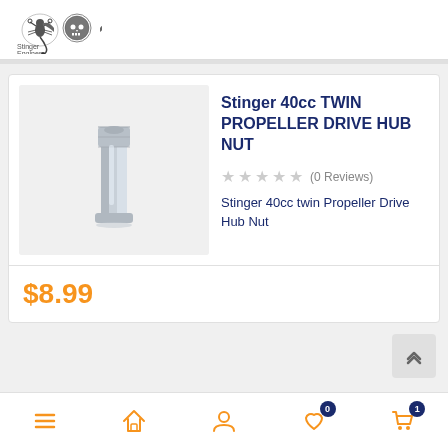Stinger Engines logo
Stinger 40cc TWIN PROPELLER DRIVE HUB NUT
(0 Reviews)
Stinger 40cc twin Propeller Drive Hub Nut
$8.99
Navigation bar with menu, home, account, wishlist (0), cart (1)